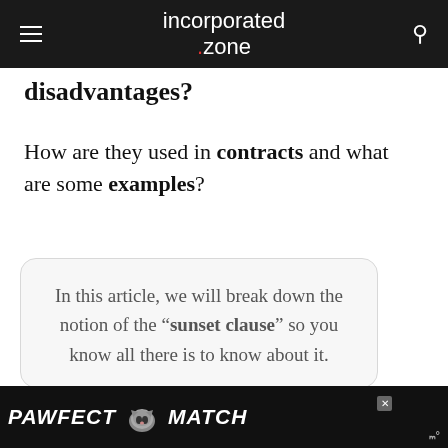incorporated .zone
disadvantages?
How are they used in contracts and what are some examples?
In this article, we will break down the notion of the “sunset clause” so you know all there is to know about it.
PAWFECT MATCH